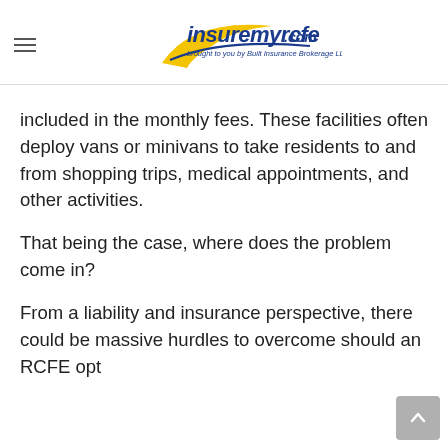insuremyrcfe.com — brought to you by Built Insurance Brokerage LLC
included in the monthly fees. These facilities often deploy vans or minivans to take residents to and from shopping trips, medical appointments, and other activities.
That being the case, where does the problem come in?
From a liability and insurance perspective, there could be massive hurdles to overcome should an RCFE opt